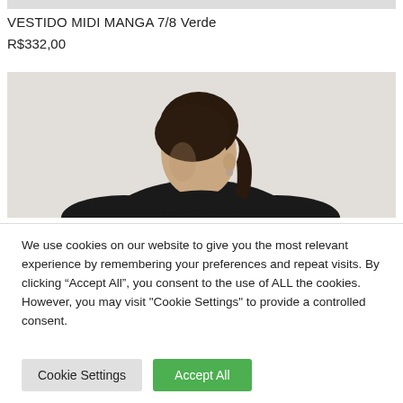[Figure (photo): Partial product image strip at top of page (cut off)]
VESTIDO MIDI MANGA 7/8 Verde
R$332,00
[Figure (photo): Model photograph showing a woman with dark hair in a ponytail, wearing a black long-sleeve top, against a light grey/white background. The image is cropped just below the shoulders.]
We use cookies on our website to give you the most relevant experience by remembering your preferences and repeat visits. By clicking “Accept All”, you consent to the use of ALL the cookies. However, you may visit "Cookie Settings" to provide a controlled consent.
Cookie Settings
Accept All